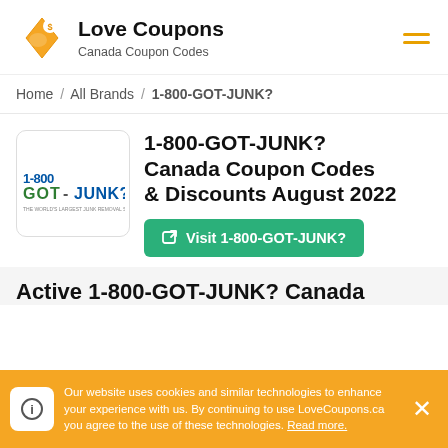Love Coupons — Canada Coupon Codes
Home / All Brands / 1-800-GOT-JUNK?
1-800-GOT-JUNK? Canada Coupon Codes & Discounts August 2022
Visit 1-800-GOT-JUNK?
Active 1-800-GOT-JUNK? Canada
Our website uses cookies and similar technologies to enhance your experience with us. By continuing to use LoveCoupons.ca you agree to the use of these technologies. Read more.